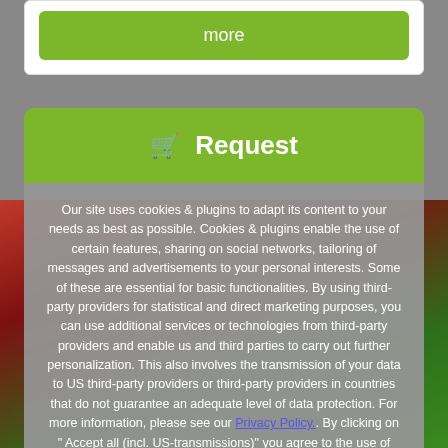more
🛒 Request
Our site uses cookies & plugins to adapt its content to your needs as best as possible. Cookies & plugins enable the use of certain features, sharing on social networks, tailoring of messages and advertisements to your personal interests. Some of these are essential for basic functionalities. By using third-party providers for statistical and direct marketing purposes, you can use additional services or technologies from third-party providers and enable us and third parties to carry out further personalization. This also involves the transmission of your data to US third-party providers or third-party providers in countries that do not guarantee an adequate level of data protection. For more information, please see our Privacy Policy. By clicking on " Accept all (incl. US-transmissions)" you agree to the use of cookies & plugins on our websites.
Adapt
Accept all (incl. US-transmissions)"